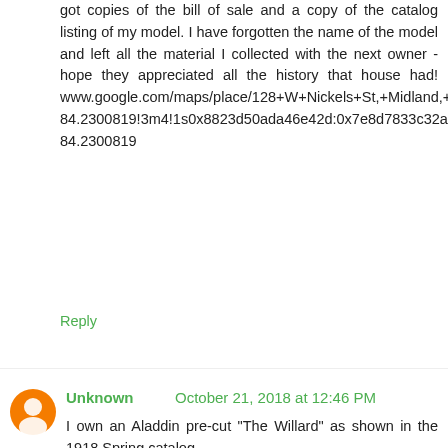got copies of the bill of sale and a copy of the catalog listing of my model. I have forgotten the name of the model and left all the material I collected with the next owner - hope they appreciated all the history that house had! www.google.com/maps/place/128+W+Nickels+St,+Midland,+MI+48640/@43.6255158,-84.2302994,3a,75y,37.12h,90t/data=!3m7!1e1!3m5!1sbQNv6JoYVR4FjiIkJEoR9g!2e0!6s%2F%2Fgeo1.ggpht.com%2Fcbk%3Fpanoid%3DbQNv6JoYVR4FjiIkJEoR9g%26output%3Dthumbnail%26cb_client%3Dmaps_sv.tactile.gps%26thumb%3D2%26w%3D203%26h%3D100%26yaw%3D37.11863%26pitch%3D0%26thumbfov%3D100!7i13312!8i6656!4m13!1m7!3m6!1s0x8823d50ada46e42d:0x7e8d7833c32ad314!2s128+W+Nickels+St,+Midland,+MI+48640!3b1!8m2!3d43.6256563!4d-84.2300819!3m4!1s0x8823d50ada46e42d:0x7e8d7833c32ad314!8m2!3d43.6256563!4d-84.2300819
Reply
Unknown October 21, 2018 at 12:46 PM
I own an Aladdin pre-cut "The Willard" as shown in the 1918 Spring catalog.